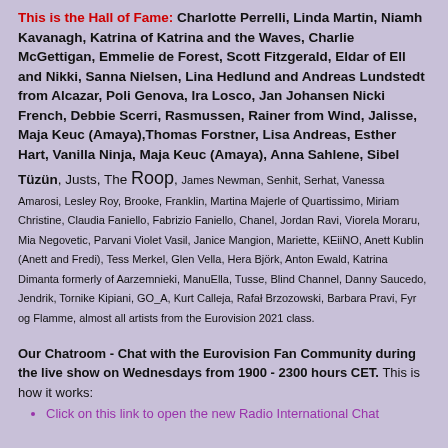This is the Hall of Fame: Charlotte Perrelli, Linda Martin, Niamh Kavanagh, Katrina of Katrina and the Waves, Charlie McGettigan, Emmelie de Forest, Scott Fitzgerald, Eldar of Ell and Nikki, Sanna Nielsen, Lina Hedlund and Andreas Lundstedt from Alcazar, Poli Genova, Ira Losco, Jan Johansen Nicki French, Debbie Scerri, Rasmussen, Rainer from Wind, Jalisse, Maja Keuc (Amaya),Thomas Forstner, Lisa Andreas, Esther Hart, Vanilla Ninja, Maja Keuc (Amaya), Anna Sahlene, Sibel Tüzün, Justs, The Roop, James Newman, Senhit, Serhat, Vanessa Amarosi, Lesley Roy, Brooke, Franklin, Martina Majerle of Quartissimo, Miriam Christine, Claudia Faniello, Fabrizio Faniello, Chanel, Jordan Ravi, Viorela Moraru, Mia Negovetic, Parvani Violet Vasil, Janice Mangion, Mariette, KEiiNO, Anett Kublin (Anett and Fredi), Tess Merkel, Glen Vella, Hera Björk, Anton Ewald, Katrina Dimanta formerly of Aarzemnieki, ManuElla, Tusse, Blind Channel, Danny Saucedo, Jendrik, Tornike Kipiani, GO_A, Kurt Calleja, Rafał Brzozowski, Barbara Pravi, Fyr og Flamme, almost all artists from the Eurovision 2021 class.
Our Chatroom - Chat with the Eurovision Fan Community during the live show on Wednesdays from 1900 - 2300 hours CET. This is how it works:
Click on this link to open the new Radio International Chat